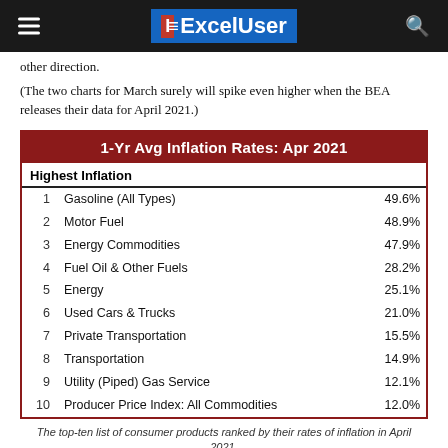ExcelUser
other direction.
(The two charts for March surely will spike even higher when the BEA releases their data for April 2021.)
| Rank | Category | Rate |
| --- | --- | --- |
| 1 | Gasoline (All Types) | 49.6% |
| 2 | Motor Fuel | 48.9% |
| 3 | Energy Commodities | 47.9% |
| 4 | Fuel Oil & Other Fuels | 28.2% |
| 5 | Energy | 25.1% |
| 6 | Used Cars & Trucks | 21.0% |
| 7 | Private Transportation | 15.5% |
| 8 | Transportation | 14.9% |
| 9 | Utility (Piped) Gas Service | 12.1% |
| 10 | Producer Price Index: All Commodities | 12.0% |
The top-ten list of consumer products ranked by their rates of inflation in April 2021.